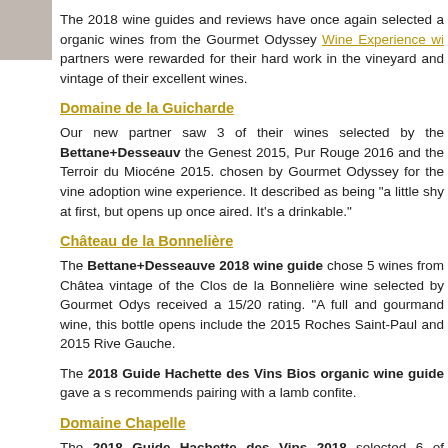The 2018 wine guides and reviews have once again selected a organic wines from the Gourmet Odyssey Wine Experience wi partners were rewarded for their hard work in the vineyard and vintage of their excellent wines.
Domaine de la Guicharde
Our new partner saw 3 of their wines selected by the Bettane+Desseauv the Genest 2015, Pur Rouge 2016 and the Terroir du Miocéne 2015. chosen by Gourmet Odyssey for the vine adoption wine experience. It described as being "a little shy at first, but opens up once aired. It's a drinkable."
Château de la Bonnelière
The Bettane+Desseauve 2018 wine guide chose 5 wines from Châtea vintage of the Clos de la Bonnelière wine selected by Gourmet Odys received a 15/20 rating. "A full and gourmand wine, this bottle opens include the 2015 Roches Saint-Paul and 2015 Rive Gauche.
The 2018 Guide Hachette des Vins Bios organic wine guide gave a s recommends pairing with a lamb confite.
Domaine Chapelle
The 2018 Guide Hachette des Vins 2018 selected 6 of Domaine Chape Cru, the 2014 Petites Lolières, as well as the 2015 Santenay Saint-Je Premier Cru, and the 2015 Gravières Premier Cru which each received wine they noted that it is "an elegant wine with aromas of white fruit, citru aromas which are amplified in the mouth with this smooth wine with good
These wines were also included in the 2018 Guide Hachette des Vins B
Domaine Stentz-Buecher